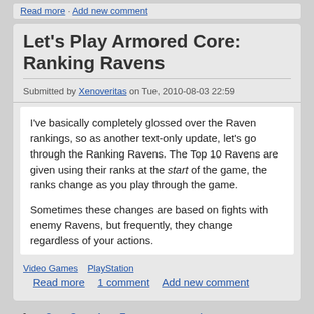Read more · Add new comment
Let's Play Armored Core: Ranking Ravens
Submitted by Xenoveritas on Tue, 2010-08-03 22:59
I've basically completely glossed over the Raven rankings, so as another text-only update, let's go through the Ranking Ravens. The Top 10 Ravens are given using their ranks at the start of the game, the ranks change as you play through the game.

Sometimes these changes are based on fights with enemy Ravens, but frequently, they change regardless of your actions.
Video Games  PlayStation
Read more  1 comment  Add new comment
1 2 3 4 5 next › last »
[Figure (logo): RSS feed icon (orange square with white radio waves)]
Search